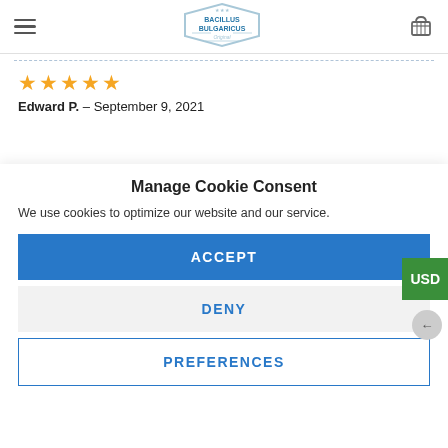Bacillus Bulgaricus — navigation header with logo and basket
★★★★★
Edward P. – September 9, 2021
Manage Cookie Consent
We use cookies to optimize our website and our service.
ACCEPT
DENY
PREFERENCES